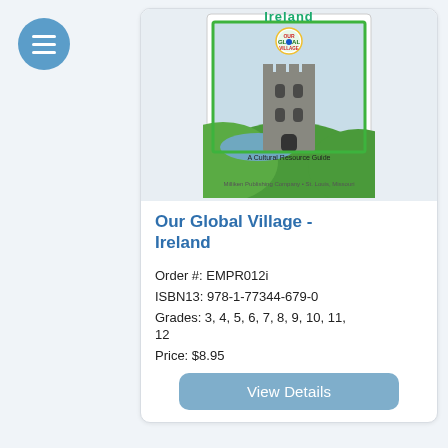[Figure (illustration): Blue circular hamburger/menu icon with three white horizontal lines]
[Figure (illustration): Book cover for 'Our Global Village - Ireland: A Cultural Resource Guide' showing a stone tower/castle with green hills and a lake, published by Milliken Publishing Company, St. Louis, Missouri. Features the Our Global Village logo badge.]
Our Global Village - Ireland
Order #: EMPR012i
ISBN13: 978-1-77344-679-0
Grades: 3, 4, 5, 6, 7, 8, 9, 10, 11, 12
Price: $8.95
View Details